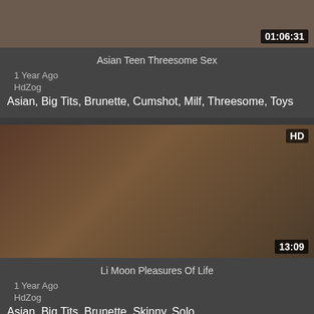[Figure (screenshot): Video thumbnail for Asian Teen Threesome Sex, duration 01:06:31]
Asian Teen Threesome Sex
1 Year Ago
HdZog
Asian, Big Tits, Brunette, Cumshot, Milf, Threesome, Toys
[Figure (screenshot): Video thumbnail for Li Moon Pleasures Of Life, HD, duration 13:09]
Li Moon Pleasures Of Life
1 Year Ago
HdZog
Asian, Big Tits, Brunette, Skinny, Solo